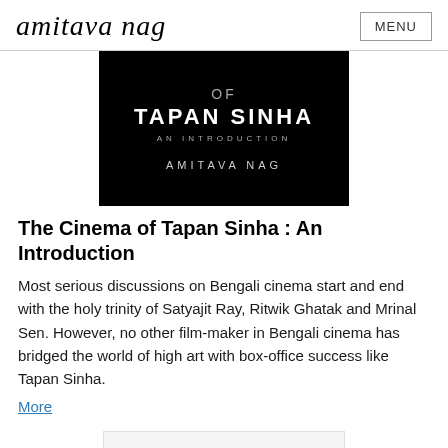amitava nag | MENU
[Figure (photo): Book cover with black background showing text: OF / TAPAN SINHA / AN INTRODUCTION / AMITAVA NAG]
The Cinema of Tapan Sinha : An Introduction
Most serious discussions on Bengali cinema start and end with the holy trinity of Satyajit Ray, Ritwik Ghatak and Mrinal Sen. However, no other film-maker in Bengali cinema has bridged the world of high art with box-office success like Tapan Sinha.
More
[Figure (other): Partially visible white/light grey box at the bottom of the page]